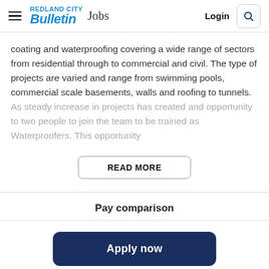REDLAND CITY Bulletin Jobs — Login
coating and waterproofing covering a wide range of sectors from residential through to commercial and civil. The type of projects are varied and range from swimming pools, commercial scale basements, walls and roofing to tunnels. As steady increase in projects has created and opportunity to two people to join the team to be trained as Waterproofers. This opportunity
READ MORE
Pay comparison
Apply now